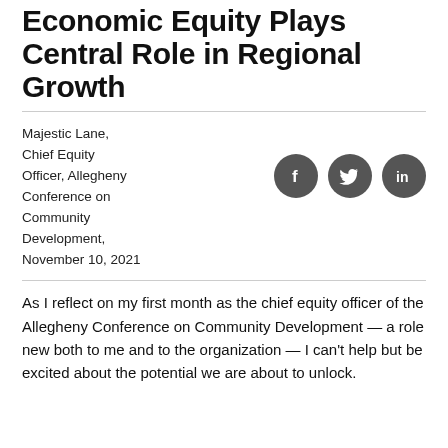Economic Equity Plays Central Role in Regional Growth
Majestic Lane, Chief Equity Officer, Allegheny Conference on Community Development, November 10, 2021
[Figure (infographic): Three social media icon circles: Facebook (f), Twitter (bird), LinkedIn (in), dark gray circles]
As I reflect on my first month as the chief equity officer of the Allegheny Conference on Community Development — a role new both to me and to the organization — I can't help but be excited about the potential we are about to unlock.